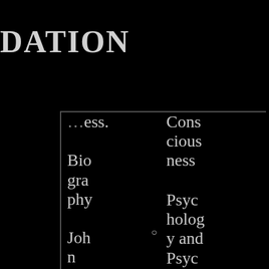DATION
ess.
Biography
John Streiff grew up
Consciousness and Consciousness
Psychology and Psychotherapy
Parapsychology and Psychical Research